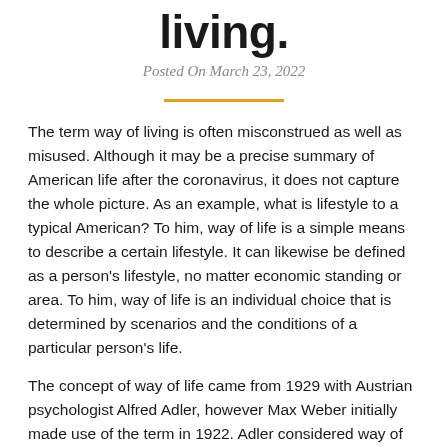living.
Posted On March 23, 2022
The term way of living is often misconstrued as well as misused. Although it may be a precise summary of American life after the coronavirus, it does not capture the whole picture. As an example, what is lifestyle to a typical American? To him, way of life is a simple means to describe a certain lifestyle. It can likewise be defined as a person's lifestyle, no matter economic standing or area. To him, way of life is an individual choice that is determined by scenarios and the conditions of a particular person's life.
The concept of way of life came from 1929 with Austrian psychologist Alfred Adler, however Max Weber initially made use of the term in 1922. Adler considered way of life to be the standard personality